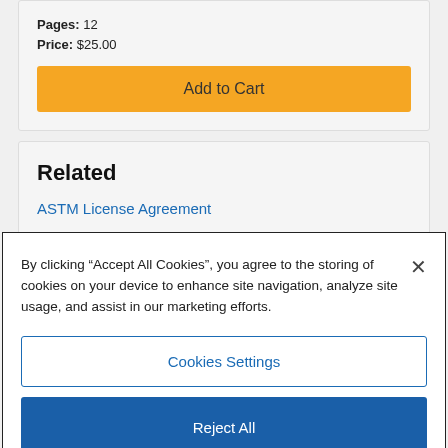Pages: 12
Price: $25.00
Add to Cart
Related
ASTM License Agreement
By clicking “Accept All Cookies”, you agree to the storing of cookies on your device to enhance site navigation, analyze site usage, and assist in our marketing efforts.
Cookies Settings
Reject All
Accept All Cookies